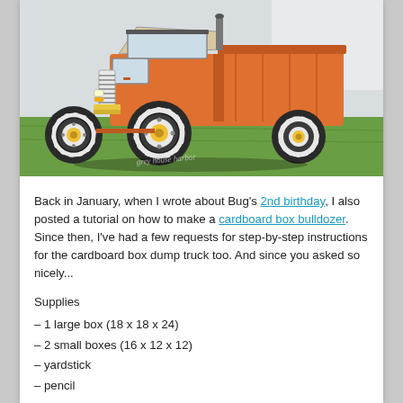[Figure (photo): Photo of a cardboard box dump truck painted orange, sitting on grass. The truck has large black-and-white illustrated wheels with yellow hubs, orange body, white windshield, and striped grille. A watermark reads 'grey house harbor'.]
Back in January, when I wrote about Bug's 2nd birthday, I also posted a tutorial on how to make a cardboard box bulldozer. Since then, I've had a few requests for step-by-step instructions for the cardboard box dump truck too. And since you asked so nicely...
Supplies
– 1 large box (18 x 18 x 24)
– 2 small boxes (16 x 12 x 12)
– yardstick
– pencil